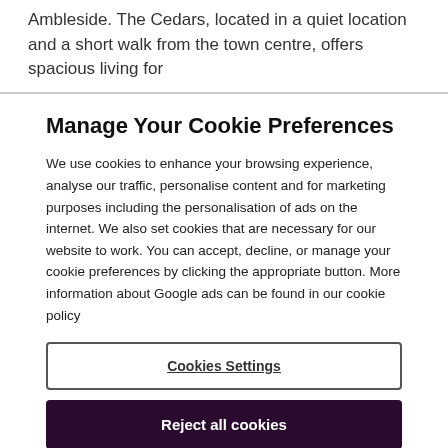Ambleside. The Cedars, located in a quiet location and a short walk from the town centre, offers spacious living for
Manage Your Cookie Preferences
We use cookies to enhance your browsing experience, analyse our traffic, personalise content and for marketing purposes including the personalisation of ads on the internet. We also set cookies that are necessary for our website to work. You can accept, decline, or manage your cookie preferences by clicking the appropriate button. More information about Google ads can be found in our cookie policy
Cookies Settings
Reject all cookies
Accept all cookies